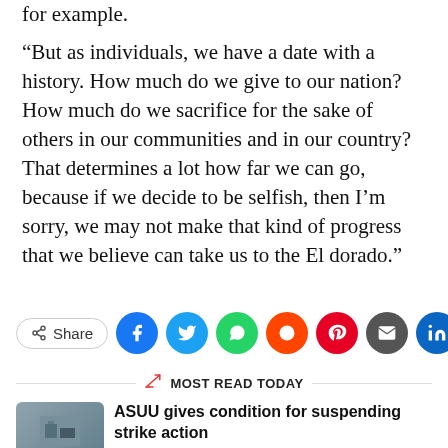for example.
“But as individuals, we have a date with a history. How much do we give to our nation? How much do we sacrifice for the sake of others in our communities and in our country? That determines a lot how far we can go, because if we decide to be selfish, then I’m sorry, we may not make that kind of progress that we believe can take us to the El dorado.”
[Figure (infographic): Social share bar with Share button and icons for Facebook, Twitter, WhatsApp, Reddit, Pinterest, Email, LinkedIn]
MOST READ TODAY
ASUU gives condition for suspending strike action
2023 Election: Why I won’t support Atiku